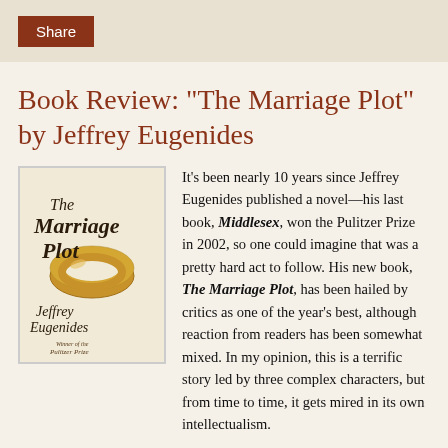Share
Book Review: "The Marriage Plot" by Jeffrey Eugenides
[Figure (illustration): Book cover of 'The Marriage Plot' by Jeffrey Eugenides. Shows a gold wedding ring on a cream/beige background with stylized script text. Bottom reads 'Winner of the Pulitzer Prize'.]
It's been nearly 10 years since Jeffrey Eugenides published a novel—his last book, Middlesex, won the Pulitzer Prize in 2002, so one could imagine that was a pretty hard act to follow. His new book, The Marriage Plot, has been hailed by critics as one of the year's best, although reaction from readers has been somewhat mixed. In my opinion, this is a terrific story led by three complex characters, but from time to time, it gets mired in its own intellectualism.
It's the early 1980s at Brown University. English major Madeleine Hanna, who grew up privileged in the New Jersey suburbs, is in